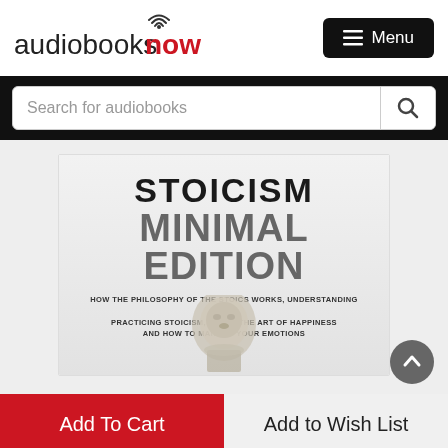[Figure (logo): audiobooksnow logo with wifi signal icon above the letter o in 'now', text in black and red]
[Figure (screenshot): Black menu button with three horizontal lines icon and text Menu]
Search for audiobooks
[Figure (photo): Book cover for Stoicism Minimal Edition showing title text and a stone bust of a philosopher on a light gray background. Subtitle: HOW THE PHILOSOPHY OF THE STOICS WORKS, UNDERSTANDING AND PRACTICING STOICISM, LEARN THE ART OF HAPPINESS AND HOW TO MANAGE YOUR EMOTIONS]
Add To Cart
Add to Wish List